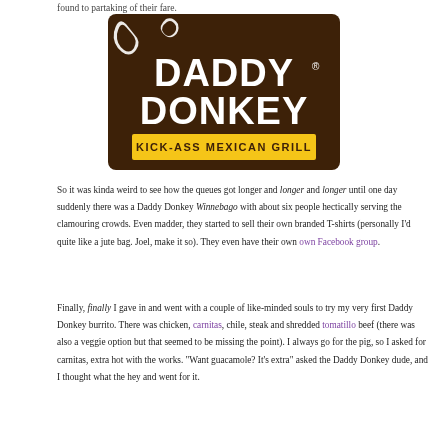found to partaking of their fare.
[Figure (logo): Daddy Donkey Kick-Ass Mexican Grill logo — brown background with white bold text 'DADDY DONKEY' and yellow text 'KICK-ASS MEXICAN GRILL', with a donkey tail/ear graphic in brown and white.]
So it was kinda weird to see how the queues got longer and longer and longer until one day suddenly there was a Daddy Donkey Winnebago with about six people hectically serving the clamouring crowds. Even madder, they started to sell their own branded T-shirts (personally I'd quite like a jute bag. Joel, make it so). They even have their own Facebook group.
Finally, finally I gave in and went with a couple of like-minded souls to try my very first Daddy Donkey burrito. There was chicken, carnitas, chile, steak and shredded tomatillo beef (there was also a veggie option but that seemed to be missing the point). I always go for the pig, so I asked for carnitas, extra hot with the works. "Want guacamole? It's extra" asked the Daddy Donkey dude, and I thought what the hey and went for it.